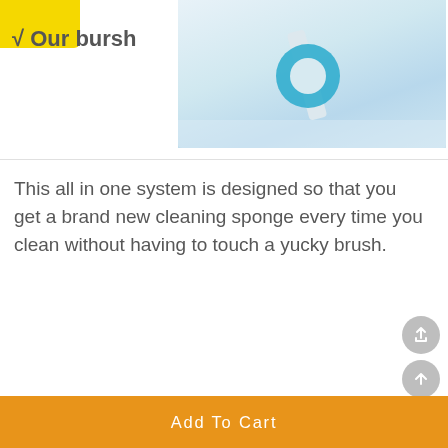[Figure (photo): Yellow banner/sticker in top-left corner with checkmark label 'Our bursh', and a photo on the right showing a blue circular brush head cleaning a white surface (bathtub/sink), with a white handle visible]
√ Our bursh
This all in one system is designed so that you get a brand new cleaning sponge every time you clean without having to touch a yucky brush.
[Figure (photo): Photo of a black/dark squeegee or cleaning tool against a dark green/grey tiled or glass surface]
Add To Cart